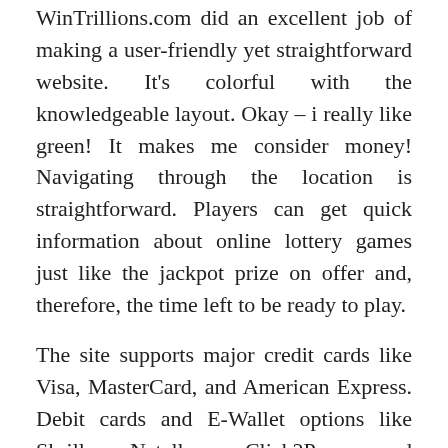WinTrillions.com did an excellent job of making a user-friendly yet straightforward website. It's colorful with the knowledgeable layout. Okay – i really like green! It makes me consider money! Navigating through the location is straightforward. Players can get quick information about online lottery games just like the jackpot prize on offer and, therefore, the time left to be ready to play.
The site supports major credit cards like Visa, MasterCard, and American Express. Debit cards and E-Wallet options like Skrill, Neteller, Click2Pay, and WebMoney are often used.
WinTrillions.com uses a 256-bit cipher SSL encryption for all financial transactions, so you'll deposit and withdraw funds to/from your account confidently. This